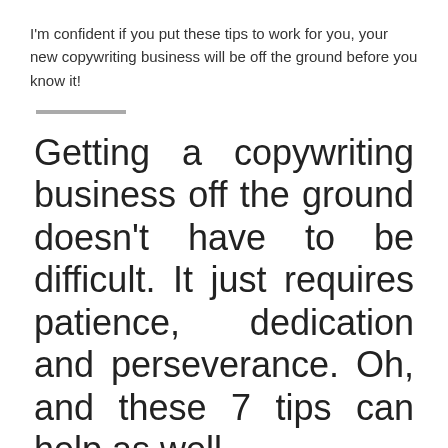I'm confident if you put these tips to work for you, your new copywriting business will be off the ground before you know it!
Getting a copywriting business off the ground doesn't have to be difficult. It just requires patience, dedication and perseverance. Oh, and these 7 tips can help as well.